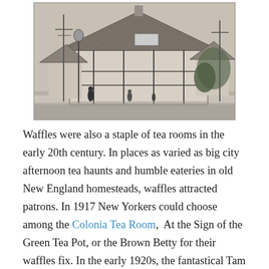[Figure (photo): Black and white historical photograph of Montgomery's Country Inn (later known as Tam O'Shanter Inn) in Los Angeles. The image shows a Tudor-style building with a steep thatched or shingled roof, half-timbered facade, people standing outside, utility poles, and trees.]
Waffles were also a staple of tea rooms in the early 20th century. In places as varied as big city afternoon tea haunts and humble eateries in old New England homesteads, waffles attracted patrons. In 1917 New Yorkers could choose among the Colonia Tea Room,  At the Sign of the Green Tea Pot, or the Brown Betty for their waffles fix. In the early 1920s, the fantastical Tam O'Shanter Inn of Los Angeles, then known as Montgomery's Country Inn (pictured), offered chicken and